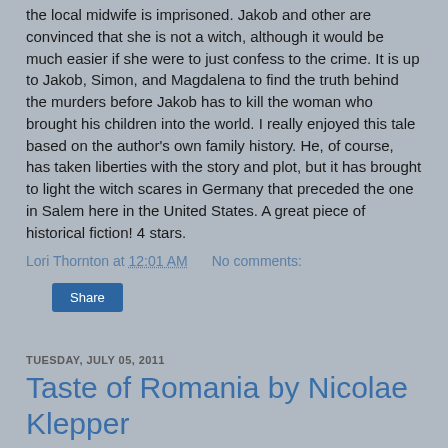the local midwife is imprisoned. Jakob and other are convinced that she is not a witch, although it would be much easier if she were to just confess to the crime. It is up to Jakob, Simon, and Magdalena to find the truth behind the murders before Jakob has to kill the woman who brought his children into the world. I really enjoyed this tale based on the author's own family history. He, of course, has taken liberties with the story and plot, but it has brought to light the witch scares in Germany that preceded the one in Salem here in the United States. A great piece of historical fiction! 4 stars.
Lori Thornton at 12:01 AM    No comments:
Share
TUESDAY, JULY 05, 2011
Taste of Romania by Nicolae Klepper
This is not a terrible cookbook. It is just one that failed to inspire me as others do. It was interesting to see the kinds of food that Romanians eat, to learn a little about the history of